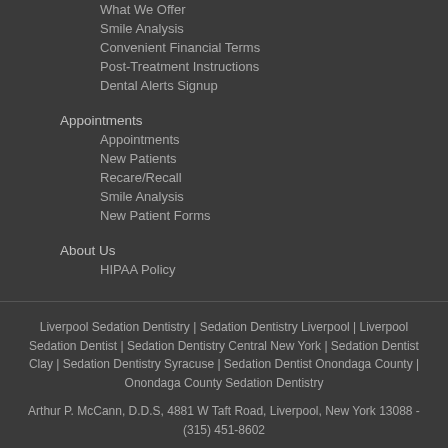What We Offer
Smile Analysis
Convenient Financial Terms
Post-Treatment Instructions
Dental Alerts Signup
Appointments
Appointments
New Patients
Recare/Recall
Smile Analysis
New Patient Forms
About Us
HIPAA Policy
Liverpool Sedation Dentistry | Sedation Dentistry Liverpool | Liverpool Sedation Dentist | Sedation Dentistry Central New York | Sedation Dentist Clay | Sedation Dentistry Syracuse | Sedation Dentist Onondaga County | Onondaga County Sedation Dentistry
Arthur P. McCann, D.D.S, 4881 W Taft Road, Liverpool, New York 13088 - (315) 451-8602